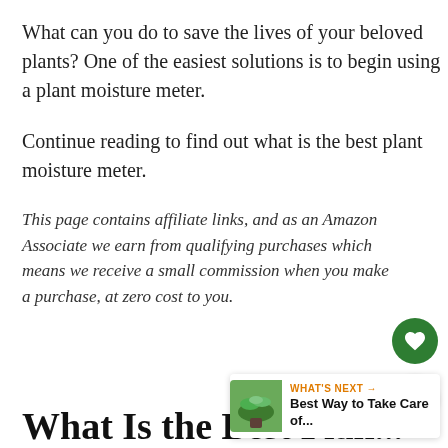What can you do to save the lives of your beloved plants? One of the easiest solutions is to begin using a plant moisture meter.
Continue reading to find out what is the best plant moisture meter.
This page contains affiliate links, and as an Amazon Associate we earn from qualifying purchases which means we receive a small commission when you make a purchase, at zero cost to you.
What Is the Best Plant...